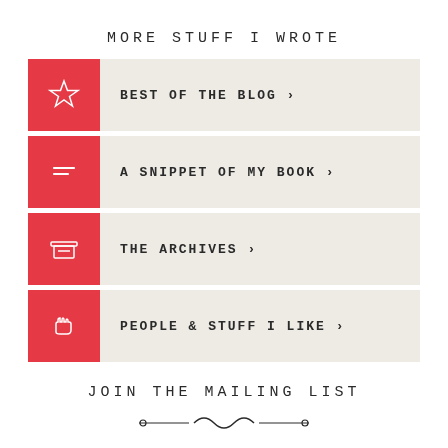MORE STUFF I WROTE
BEST OF THE BLOG >
A SNIPPET OF MY BOOK >
THE ARCHIVES >
PEOPLE & STUFF I LIKE >
JOIN THE MAILING LIST
Get new blog posts delivered straight to your inbox. No